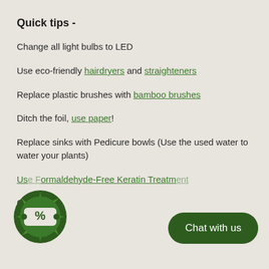Quick tips -
Change all light bulbs to LED
Use eco-friendly hairdryers and straighteners
Replace plastic brushes with bamboo brushes
Ditch the foil, use paper!
Replace sinks with Pedicure bowls (Use the used water to water your plants)
Use Formaldehyde-Free Keratin Treatment
C...-free
[Figure (logo): Green circular badge with percent symbol (coupon icon)]
Chat with us